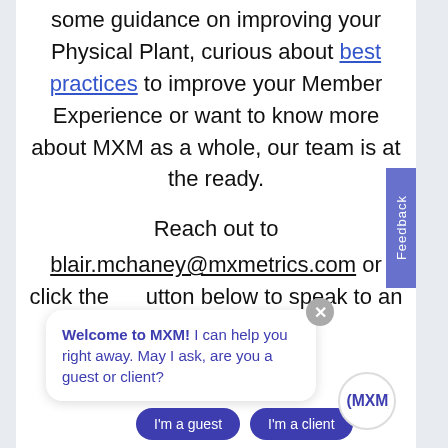some guidance on improving your Physical Plant, curious about best practices to improve your Member Experience or want to know more about MXM as a whole, our team is at the ready.

Reach out to blair.mchaney@mxmetrics.com or click the button below to speak to an
[Figure (screenshot): Chat widget popup with Welcome to MXM message and I'm a guest / I'm a client buttons, plus MXM logo circle]